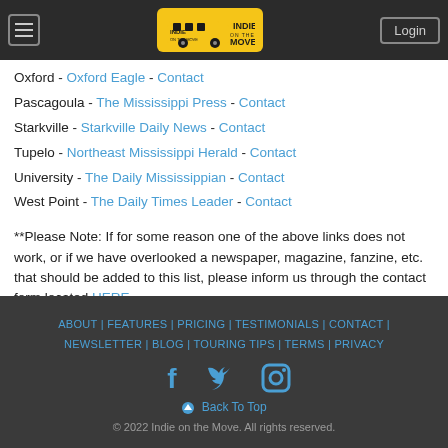Indie on the Move [logo] | Login
Oxford - Oxford Eagle - Contact
Pascagoula - The Mississippi Press - Contact
Starkville - Starkville Daily News - Contact
Tupelo - Northeast Mississippi Herald - Contact
University - The Daily Mississippian - Contact
West Point - The Daily Times Leader - Contact
**Please Note: If for some reason one of the above links does not work, or if we have overlooked a newspaper, magazine, fanzine, etc. that should be added to this list, please inform us through the contact form located HERE.
ABOUT | FEATURES | PRICING | TESTIMONIALS | CONTACT | NEWSLETTER | BLOG | TOURING TIPS | TERMS | PRIVACY
[Facebook] [Twitter] [Instagram]
⊕ Back To Top
© 2022 Indie on the Move. All rights reserved.